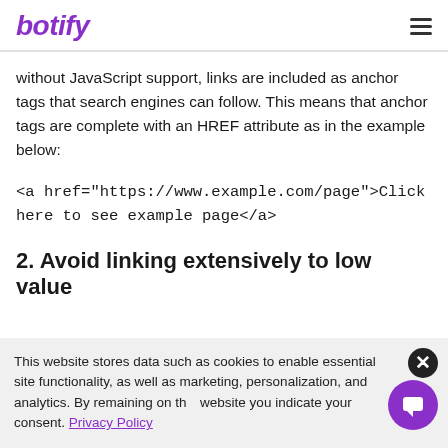botify
without JavaScript support, links are included as anchor tags that search engines can follow. This means that anchor tags are complete with an HREF attribute as in the example below:
<a href="https://www.example.com/page">Click here to see example page</a>
2. Avoid linking extensively to low value
This website stores data such as cookies to enable essential site functionality, as well as marketing, personalization, and analytics. By remaining on this website you indicate your consent. Privacy Policy